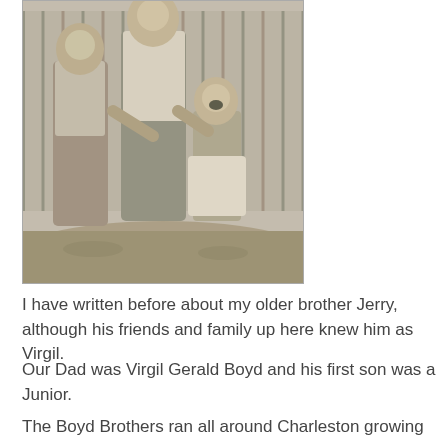[Figure (photo): Black and white photograph of three boys/young men standing together outdoors. Two older boys on the left are wearing shirts, the youngest on the right is shirtless and appears to be laughing. They are standing in front of what appears to be a fence or mesh background.]
I have written before about my older brother Jerry, although his friends and family up here knew him as Virgil.
Our Dad was Virgil Gerald Boyd and his first son was a Junior.
The Boyd Brothers ran all around Charleston growing up.